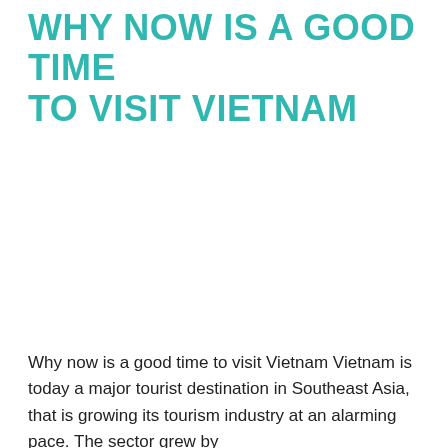WHY NOW IS A GOOD TIME TO VISIT VIETNAM
Why now is a good time to visit Vietnam Vietnam is today a major tourist destination in Southeast Asia, that is growing its tourism industry at an alarming pace. The sector grew by